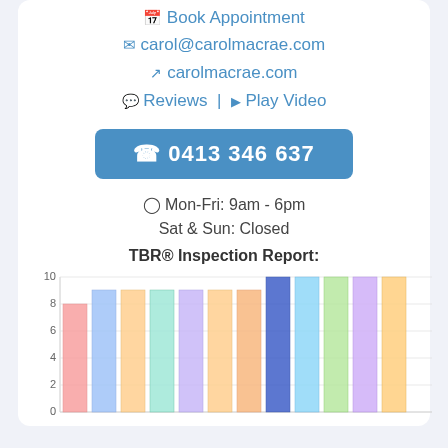📅 Book Appointment
✉ carol@carolmacrae.com
↗ carolmacrae.com
💬 Reviews | ▶ Play Video
☎ 0413 346 637
🕐 Mon-Fri: 9am - 6pm
Sat & Sun: Closed
TBR® Inspection Report:
[Figure (bar-chart): TBR® Inspection Report]